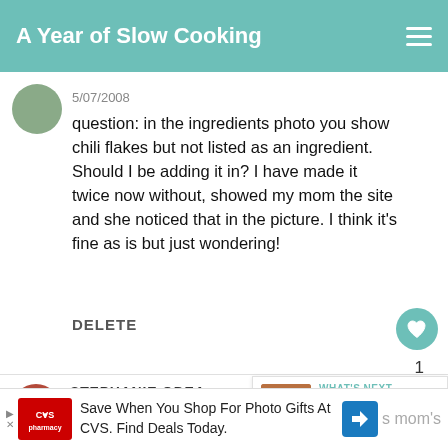A Year of Slow Cooking
5/07/2008
question: in the ingredients photo you show chili flakes but not listed as an ingredient. Should I be adding it in? I have made it twice now without, showed my mom the site and she noticed that in the picture. I think it's fine as is but just wondering!
DELETE
1
STEPHANIE ODEA
5/07/2008
WHAT'S NEXT → Best Slow Cooker...
Save When You Shop For Photo Gifts At CVS. Find Deals Today.